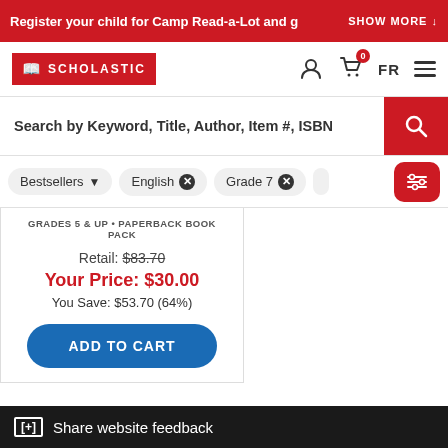Register your child for Camp Read-a-Lot and g   SHOW MORE
[Figure (logo): Scholastic logo with open book icon on red background]
Search by Keyword, Title, Author, Item #, ISBN
Bestsellers  English ✕  Grade 7 ✕
GRADES 5 & UP • PAPERBACK BOOK PACK
Retail: $83.70
Your Price: $30.00
You Save: $53.70 (64%)
ADD TO CART
[+] Share website feedback